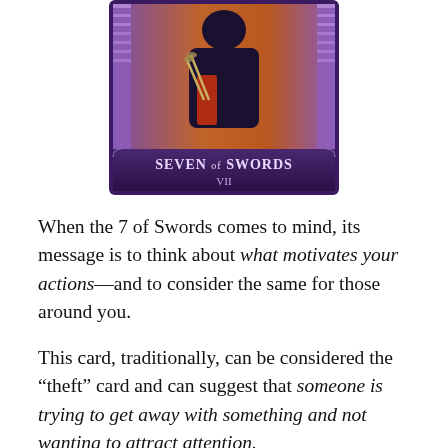[Figure (illustration): Tarot card image of the Seven of Swords (VII), showing a figure in dark clothing holding swords, with a purple and red background]
When the 7 of Swords comes to mind, its message is to think about what motivates your actions—and to consider the same for those around you.
This card, traditionally, can be considered the “theft” card and can suggest that someone is trying to get away with something and not wanting to attract attention.
But all things being relative—and a matter of perception—it could also suggest that someone wants to do some